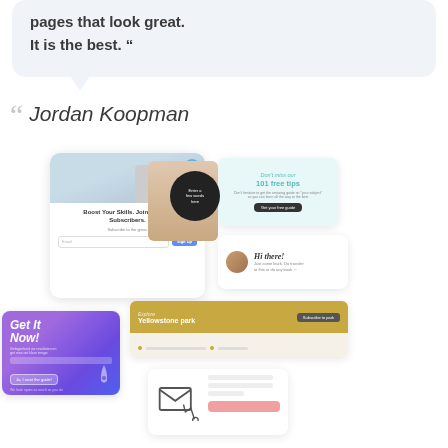pages that look great. It is the best. "
Jordan Koopman
[Figure (screenshot): Collection of landing page and email opt-in template screenshots showing various layouts including a newsletter signup card, fitness tips card, get-it-now promo card, Yellowstone park booking card, chat bubble, and email signup form.]